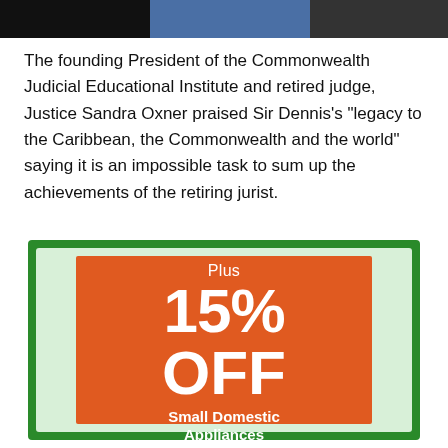[Figure (photo): Partial photo of a person wearing a blue shirt, cropped at the top of the page]
The founding President of the Commonwealth Judicial Educational Institute and retired judge, Justice Sandra Oxner praised Sir Dennis's “legacy to the Caribbean, the Commonwealth and the world” saying it is an impossible task to sum up the achievements of the retiring jurist.
[Figure (infographic): Advertisement with a green border and light green background. An orange rectangle contains white text reading: Plus 15% OFF Small Domestic Appliances]